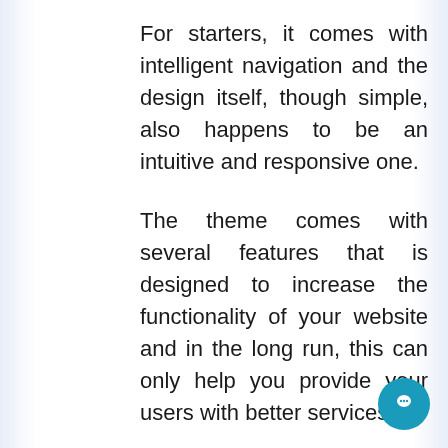For starters, it comes with intelligent navigation and the design itself, though simple, also happens to be an intuitive and responsive one.
The theme comes with several features that is designed to increase the functionality of your website and in the long run, this can only help you provide your users with better services.
The theme is also compatible with both third party plugins and multiple browsers; apart from this, the theme makes it possible for you to use